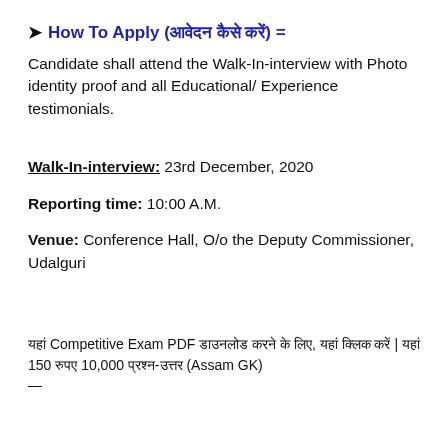➤ How To Apply (आवेदन कैसे करें) =
Candidate shall attend the Walk-In-interview with Photo identity proof and all Educational/ Experience testimonials.
Walk-In-interview: 23rd December, 2020
Reporting time: 10:00 A.M.
Venue: Conference Hall, O/o the Deputy Commissioner, Udalguri
यहां Competitive Exam PDF डाउनलोड करने के लिए, यहां क्लिक करें | यहां 150 रुपए 10,000 प्रश्न-उत्तर (Assam GK) —